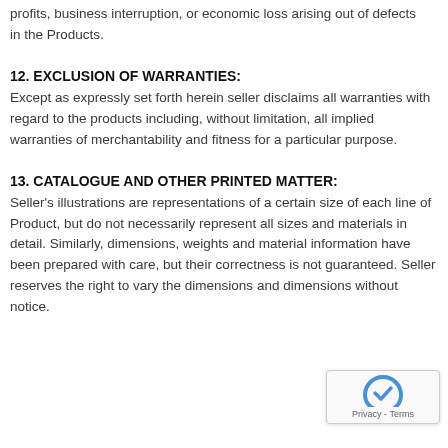profits, business interruption, or economic loss arising out of defects in the Products.
12. EXCLUSION OF WARRANTIES:
Except as expressly set forth herein seller disclaims all warranties with regard to the products including, without limitation, all implied warranties of merchantability and fitness for a particular purpose.
13. CATALOGUE AND OTHER PRINTED MATTER:
Seller's illustrations are representations of a certain size of each line of Product, but do not necessarily represent all sizes and materials in detail. Similarly, dimensions, weights and material information have been prepared with care, but their correctness is not guaranteed. Seller reserves the right to vary the dimensions and dimensions without notice.